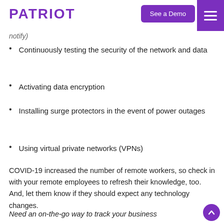PATRIOT | See a Demo
notify)
Continuously testing the security of the network and data
Activating data encryption
Installing surge protectors in the event of power outages
Using virtual private networks (VPNs)
COVID-19 increased the number of remote workers, so check in with your remote employees to refresh their knowledge, too. And, let them know if they should expect any technology changes.
Need an on-the-go way to track your business